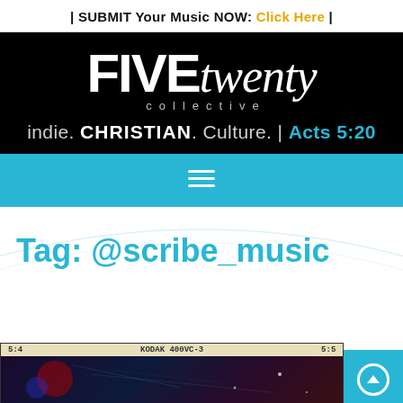| SUBMIT Your Music NOW: Click Here |
[Figure (logo): FIVEtwenty collective logo with tagline: indie. CHRISTIAN. Culture. | Acts 5:20]
[Figure (other): Blue navigation bar with hamburger menu icon]
Tag: @scribe_music
[Figure (photo): Kodak 400VC-3 film strip showing a dark cosmic/night scene image. Frame numbers 54 and 55 visible.]